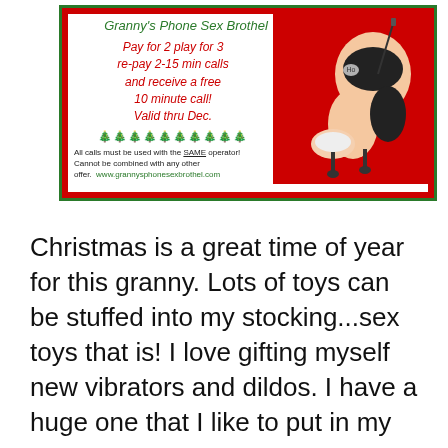[Figure (illustration): Advertisement for Granny's Phone Sex Brothel with Christmas theme. Red border with green outline. Left side has green handwritten title, red handwritten promotional text offering 'Pay for 2 play for 3, re-pay 2-15 min calls and receive a free 10 minute call! Valid thru Dec.' with Christmas tree decorations. Fine print at bottom. Right side has cartoon illustration on red background. Hamburger menu icon at top left.]
Christmas is a great time of year for this granny. Lots of toys can be stuffed into my stocking...sex toys that is! I love gifting myself new vibrators and dildos. I have a huge one that I like to put in my horny asshole. It is getting worn out because I have used it so much